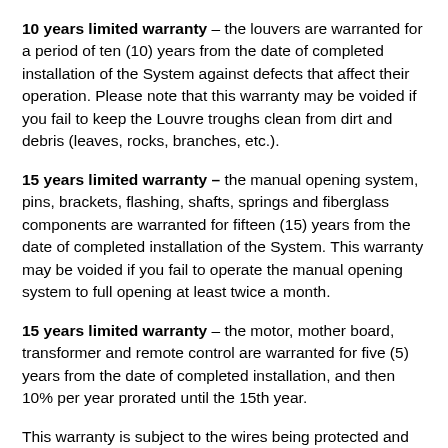10 years limited warranty – the louvers are warranted for a period of ten (10) years from the date of completed installation of the System against defects that affect their operation. Please note that this warranty may be voided if you fail to keep the Louvre troughs clean from dirt and debris (leaves, rocks, branches, etc.).
15 years limited warranty – the manual opening system, pins, brackets, flashing, shafts, springs and fiberglass components are warranted for fifteen (15) years from the date of completed installation of the System. This warranty may be voided if you fail to operate the manual opening system to full opening at least twice a month.
15 years limited warranty – the motor, mother board, transformer and remote control are warranted for five (5) years from the date of completed installation, and then 10% per year prorated until the 15th year.
This warranty is subject to the wires being protected and the